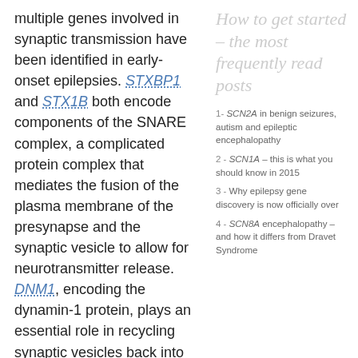multiple genes involved in synaptic transmission have been identified in early-onset epilepsies. STXBP1 and STX1B both encode components of the SNARE complex, a complicated protein complex that mediates the fusion of the plasma membrane of the presynapse and the synaptic vesicle to allow for neurotransmitter release. DNM1, encoding the dynamin-1 protein, plays an essential role in recycling synaptic vesicles back into the presynapse after neurotransmitter release. A new study by Myers and collaborators has identified several patients with de novo variants in PPP3CA, which encodes another protein involved in
How to get started – the most frequently read posts
1- SCN2A in benign seizures, autism and epileptic encephalopathy
2 - SCN1A – this is what you should know in 2015
3 - Why epilepsy gene discovery is now officially over
4 - SCN8A encephalopathy – and how it differs from Dravet Syndrome